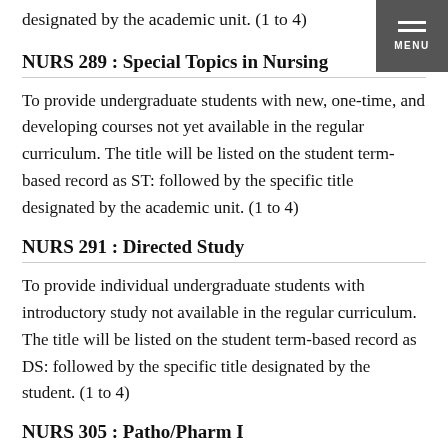designated by the academic unit. (1 to 4)
NURS 289 : Special Topics in Nursing
To provide undergraduate students with new, one-time, and developing courses not yet available in the regular curriculum. The title will be listed on the student term-based record as ST: followed by the specific title designated by the academic unit. (1 to 4)
NURS 291 : Directed Study
To provide individual undergraduate students with introductory study not available in the regular curriculum. The title will be listed on the student term-based record as DS: followed by the specific title designated by the student. (1 to 4)
NURS 305 : Patho/Pharm I